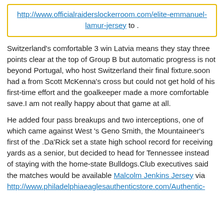http://www.officialraiderslockerroom.com/elite-emmanuel-lamur-jersey to .
Switzerland's comfortable 3 win Latvia means they stay three points clear at the top of Group B but automatic progress is not beyond Portugal, who host Switzerland their final fixture.soon had a from Scott McKenna's cross but could not get hold of his first-time effort and the goalkeeper made a more comfortable save.I am not really happy about that game at all.
He added four pass breakups and two interceptions, one of which came against West 's Geno Smith, the Mountaineer's first of the .Da'Rick set a state high school record for receiving yards as a senior, but decided to head for Tennessee instead of staying with the home-state Bulldogs.Club executives said the matches would be available Malcolm Jenkins Jersey via http://www.philadelphiaeaglesauthenticstore.com/Authentic-